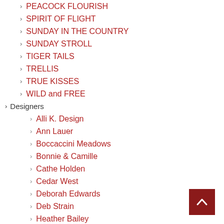> PEACOCK FLOURISH
> SPIRIT OF FLIGHT
> SUNDAY IN THE COUNTRY
> SUNDAY STROLL
> TIGER TAILS
> TRELLIS
> TRUE KISSES
> WILD and FREE
> Designers
> Alli K. Design
> Ann Lauer
> Boccaccini Meadows
> Bonnie & Camille
> Cathe Holden
> Cedar West
> Deborah Edwards
> Deb Strain
> Heather Bailey
> Jessica Mundo
> Josephine Wall